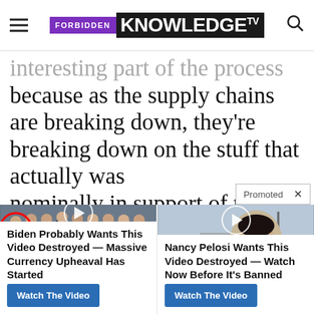FORBIDDEN KNOWLEDGE TV
...interesting part of the process because as the supply chains are breaking down, they're breaking down on the stuff that actually was nominally in support of th[e] r[ecovery]
Promoted ×
[Figure (screenshot): Promoted ad thumbnail showing group of people in suits at CIA headquarters with red circle highlighting one person and a play button overlay]
Biden Probably Wants This Video Destroyed — Massive Currency Upheaval Has Started
Watch The Video
[Figure (screenshot): Promoted ad thumbnail showing a woman smiling outdoors near industrial buildings with a play button overlay]
Nancy Pelosi Wants This Video Destroyed — Watch Now Before It's Banned
Watch The Video